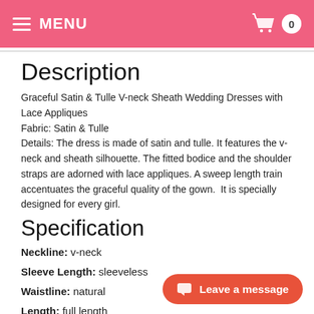MENU  0
Description
Graceful Satin & Tulle V-neck Sheath Wedding Dresses with Lace Appliques
Fabric: Satin & Tulle
Details: The dress is made of satin and tulle. It features the v-neck and sheath silhouette. The fitted bodice and the shoulder straps are adorned with lace appliques. A sweep length train accentuates the graceful quality of the gown.  It is specially designed for every girl.
Specification
Neckline: v-neck
Sleeve Length: sleeveless
Waistline: natural
Length: full length
Silhouette: sheath/column